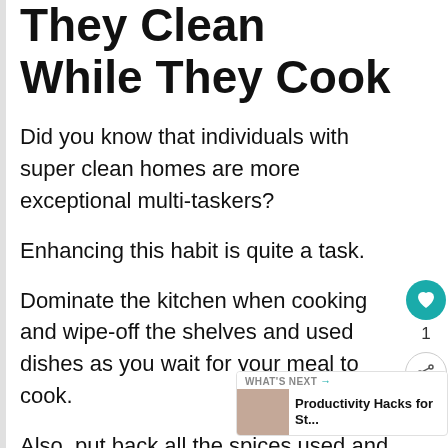They Clean While They Cook
Did you know that individuals with super clean homes are more exceptional multi-taskers?
Enhancing this habit is quite a task.
Dominate the kitchen when cooking and wipe-off the shelves and used dishes as you wait for your meal to cook.
Also, put back all the spices used and ingredients left after preparing the meal.
This...